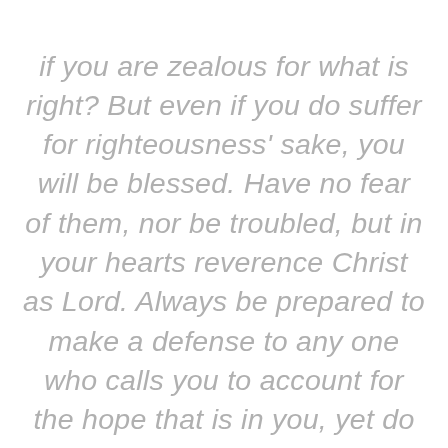if you are zealous for what is right? But even if you do suffer for righteousness' sake, you will be blessed. Have no fear of them, nor be troubled, but in your hearts reverence Christ as Lord. Always be prepared to make a defense to any one who calls you to account for the hope that is in you, yet do it with gentleness and reverence; and keep your conscience clear, so that, when